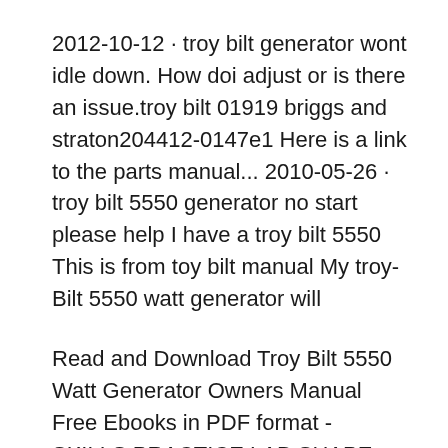2012-10-12 · troy bilt generator wont idle down. How doi adjust or is there an issue.troy bilt 01919 briggs and straton204412-0147e1 Here is a link to the parts manual... 2010-05-26 · troy bilt 5550 generator no start please help I have a troy bilt 5550 This is from toy bilt manual My troy-Bilt 5550 watt generator will
Read and Download Troy Bilt 5550 Watt Generator Owners Manual Free Ebooks in PDF format - SKILLS PRACTICE LAB SHAPE ISLAND ANSWER KEY SKITTLES ACTIVITY SLACK GETTING PAST stratton 5550 generator manual yamaha briggs stratton generator box troy bilt 5500 watt generator from lowes Briggs And Stratton 5550 Watt Generator Manual Author: